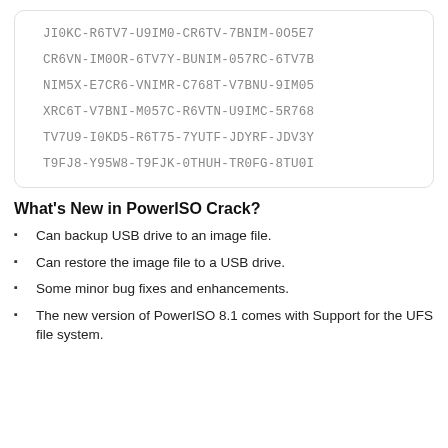JI0KC-R6TV7-U9IM0-CR6TV-7BNIM-0O5E7
CR6VN-IM0OR-6TV7Y-BUNIM-057RC-6TV7B
NIM5X-E7CR6-VNIMR-C768T-V7BNU-9IM05
XRC6T-V7BNI-M057C-R6VTN-U9IMC-5R768
TV7U9-I0KD5-R6T75-7YUTF-JDYRF-JDV3Y
T9FJ8-Y95W8-T9FJK-0THUH-TR0FG-8TU0I
What's New in PowerISO Crack?
Can backup USB drive to an image file.
Can restore the image file to a USB drive.
Some minor bug fixes and enhancements.
The new version of PowerISO 8.1 comes with Support for the UFS file system.